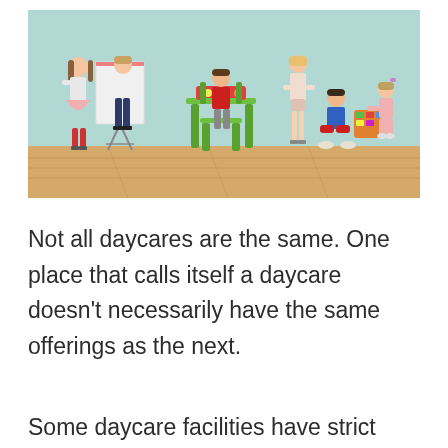[Figure (photo): Children playing in a daycare room. Several young children are engaged in various activities: two children near a whiteboard/easel on the left, one child sitting on a green chair at a green table in the center, one girl standing at the green table, one boy sitting on the floor, and a smaller child kneeling on the right. The room has a teal/mint green wall and a wooden floor.]
Not all daycares are the same. One place that calls itself a daycare doesn’t necessarily have the same offerings as the next.
Some daycare facilities have strict